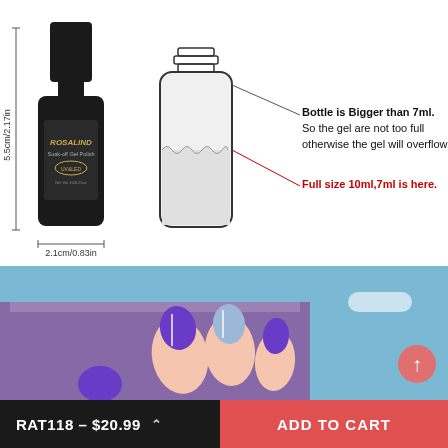[Figure (infographic): Product diagram of ROSALIND gel nail polish bottle showing dimensions (5.5cm/2.17in height, 2.1cm/0.83in width) alongside an outline drawing of an empty bottle with annotations: 'Bottle is Bigger than 7ml. So the gel are not too full otherwise the gel will overflow.' and in red 'Full size 10ml,7ml is here.']
[Figure (photo): Close-up photo of fingernails painted with purple and light blue gradient gel polish, with a blue background and a nail swatch showing the light blue color.]
RAT118 – $20.99
ADD TO CART